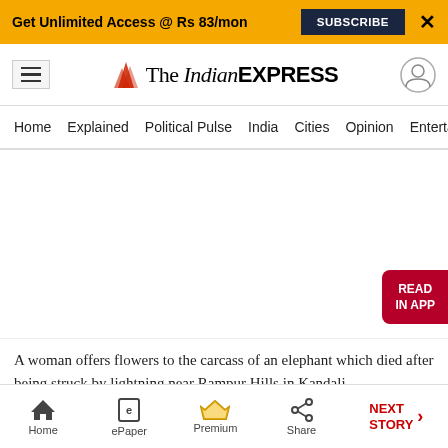Get Unlimited Access @ Rs 83/mon   SUBSCRIBE   X
The Indian EXPRESS
Home  Explained  Political Pulse  India  Cities  Opinion  Entertainment
[Figure (photo): Large white/blank image area with a 'READ IN APP' red button on the right side]
A woman offers flowers to the carcass of an elephant which died after being struck by lightning near Rampur Hills in Kandali…
Home  ePaper  Premium  Share  NEXT STORY →